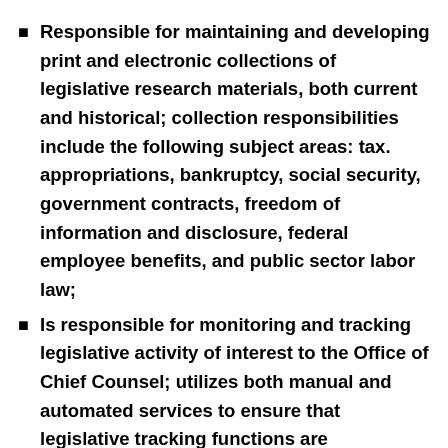Responsible for maintaining and developing print and electronic collections of legislative research materials, both current and historical; collection responsibilities include the following subject areas: tax. appropriations, bankruptcy, social security, government contracts, freedom of information and disclosure, federal employee benefits, and public sector labor law;
Is responsible for monitoring and tracking legislative activity of interest to the Office of Chief Counsel; utilizes both manual and automated services to ensure that legislative tracking functions are comprehensive, timely, and that all current and pending legislation of interest to the agency is properly identified and monitored; and
Provides sophisticated legislative research and